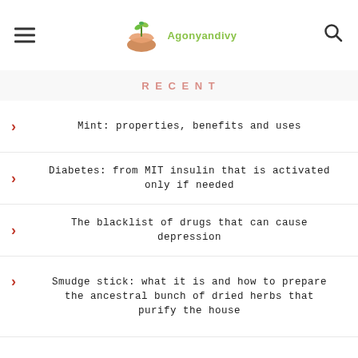Agonyandivy
RECENT
Mint: properties, benefits and uses
Diabetes: from MIT insulin that is activated only if needed
The blacklist of drugs that can cause depression
Smudge stick: what it is and how to prepare the ancestral bunch of dried herbs that purify the house
Jet Leg: 10 tips and natural remedies